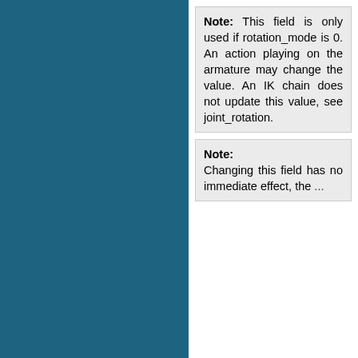Note: This field is only used if rotation_mode is 0. An action playing on the armature may change the value. An IK chain does not update this value, see joint_rotation.
Note: Changing this field has no immediate effect, the ...